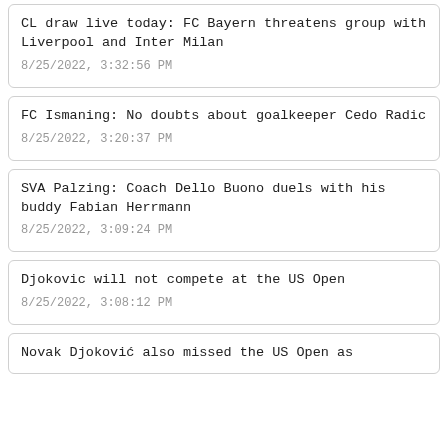CL draw live today: FC Bayern threatens group with Liverpool and Inter Milan
8/25/2022, 3:32:56 PM
FC Ismaning: No doubts about goalkeeper Cedo Radic
8/25/2022, 3:20:37 PM
SVA Palzing: Coach Dello Buono duels with his buddy Fabian Herrmann
8/25/2022, 3:09:24 PM
Djokovic will not compete at the US Open
8/25/2022, 3:08:12 PM
Novak Djoković also missed the US Open as